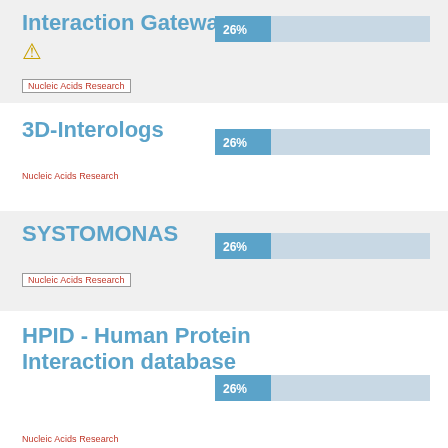Interaction Gateway
[Figure (bar-chart): 26% bar]
Nucleic Acids Research
3D-Interologs
[Figure (bar-chart): 26% bar]
Nucleic Acids Research
SYSTOMONAS
[Figure (bar-chart): 26% bar]
Nucleic Acids Research
HPID - Human Protein Interaction database
[Figure (bar-chart): 26% bar]
Nucleic Acids Research